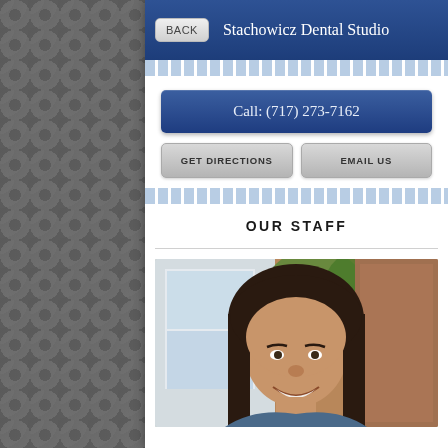BACK  Stachowicz Dental Studio
Call: (717) 273-7162
GET DIRECTIONS
EMAIL US
OUR STAFF
[Figure (photo): Smiling woman with dark hair, photographed outdoors in front of a building with greenery in background]